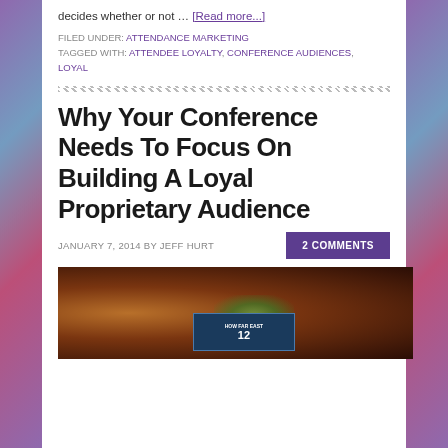decides whether or not … [Read more...]
FILED UNDER: ATTENDANCE MARKETING
TAGGED WITH: ATTENDEE LOYALTY, CONFERENCE AUDIENCES, LOYAL
Why Your Conference Needs To Focus On Building A Loyal Proprietary Audience
JANUARY 7, 2014 BY JEFF HURT
2 COMMENTS
[Figure (photo): Dark photo of a conference auditorium with audience seating and a screen visible]